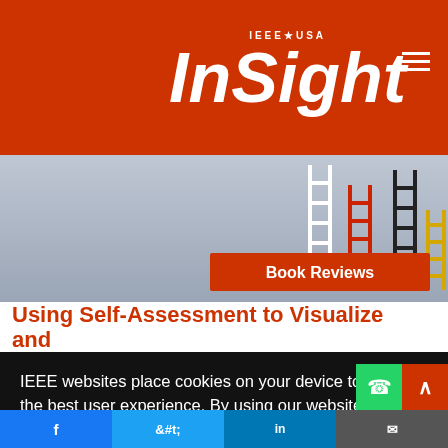IEEE USA InSight
[Figure (photo): Book cover image showing ladders (white, red, black, yellow) against a blue-gray background with an orange 'Book Reviews' badge.]
Book Reviews
Using Self-Assessment to Visualize and
IEEE websites place cookies on your device to give you the best user experience. By using our websites, you agree to the placement of these cookies. To learn more, read our Privacy Policy.
Accept & Close